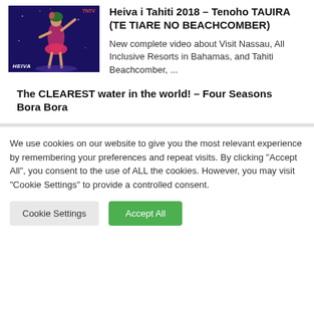[Figure (photo): Thumbnail of a dancer performing Heiva i Tahiti 2018, wearing pink/red costume, dark blue background with sparkles. TNTV logo top right, HEIVA label bottom left.]
Heiva i Tahiti 2018 – Tenoho TAUIRA (TE TIARE NO BEACHCOMBER)
New complete video about Visit Nassau, All Inclusive Resorts in Bahamas, and Tahiti Beachcomber, ...
The CLEAREST water in the world! – Four Seasons Bora Bora
We use cookies on our website to give you the most relevant experience by remembering your preferences and repeat visits. By clicking "Accept All", you consent to the use of ALL the cookies. However, you may visit "Cookie Settings" to provide a controlled consent.
Cookie Settings
Accept All